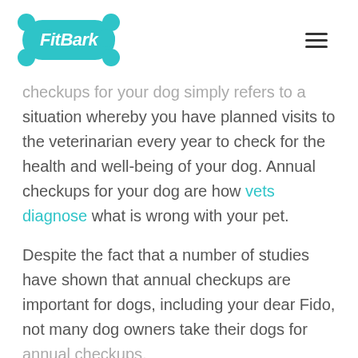FitBark
checkups for your dog simply refers to a situation whereby you have planned visits to the veterinarian every year to check for the health and well-being of your dog. Annual checkups for your dog are how vets diagnose what is wrong with your pet.
Despite the fact that a number of studies have shown that annual checkups are important for dogs, including your dear Fido, not many dog owners take their dogs for annual checkups.